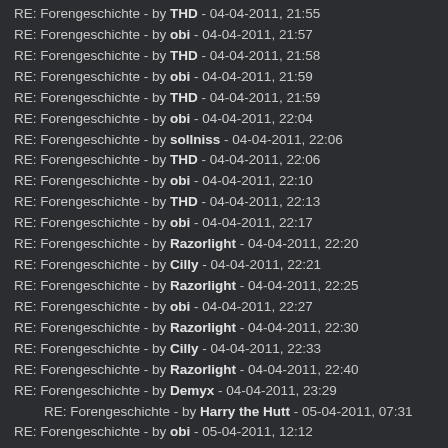RE: Forengeschichte - by THD - 04-04-2011, 21:55
RE: Forengeschichte - by obi - 04-04-2011, 21:57
RE: Forengeschichte - by THD - 04-04-2011, 21:58
RE: Forengeschichte - by obi - 04-04-2011, 21:59
RE: Forengeschichte - by THD - 04-04-2011, 21:59
RE: Forengeschichte - by obi - 04-04-2011, 22:04
RE: Forengeschichte - by sollniss - 04-04-2011, 22:06
RE: Forengeschichte - by THD - 04-04-2011, 22:06
RE: Forengeschichte - by obi - 04-04-2011, 22:10
RE: Forengeschichte - by THD - 04-04-2011, 22:13
RE: Forengeschichte - by obi - 04-04-2011, 22:17
RE: Forengeschichte - by Razorlight - 04-04-2011, 22:20
RE: Forengeschichte - by Cilly - 04-04-2011, 22:21
RE: Forengeschichte - by Razorlight - 04-04-2011, 22:25
RE: Forengeschichte - by obi - 04-04-2011, 22:27
RE: Forengeschichte - by Razorlight - 04-04-2011, 22:30
RE: Forengeschichte - by Cilly - 04-04-2011, 22:33
RE: Forengeschichte - by Razorlight - 04-04-2011, 22:40
RE: Forengeschichte - by Demyx - 04-04-2011, 23:29
RE: Forengeschichte - by Harry the Hutt - 05-04-2011, 07:31
RE: Forengeschichte - by obi - 05-04-2011, 12:12
RE: Forengeschichte - by Harry the Hutt - 05-04-2011, 17:10
RE: Forengeschichte - by obi - 05-04-2011, 17:18